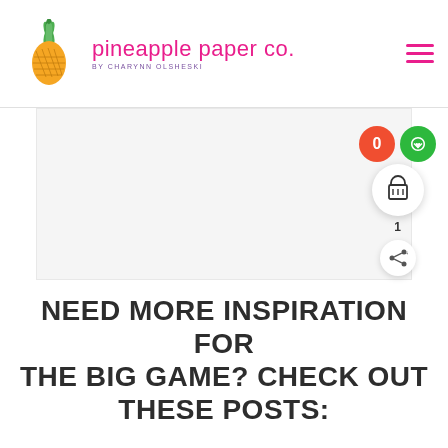pineapple paper co. by CHARYNN OLSHESKI
[Figure (photo): Large white/blank rectangular image placeholder area occupying most of the page below the header]
NEED MORE INSPIRATION FOR THE BIG GAME? CHECK OUT THESE POSTS: